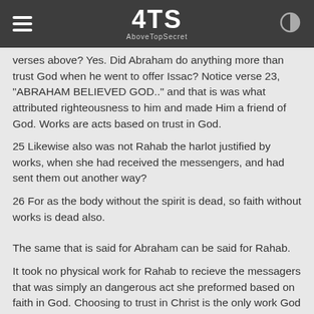4TS AboveTopSecret
verses above? Yes. Did Abraham do anything more than trust God when he went to offer Issac? Notice verse 23, "ABRAHAM BELIEVED GOD.." and that is was what attributed righteousness to him and made Him a friend of God. Works are acts based on trust in God.
25 Likewise also was not Rahab the harlot justified by works, when she had received the messengers, and had sent them out another way?
26 For as the body without the spirit is dead, so faith without works is dead also.
The same that is said for Abraham can be said for Rahab.
It took no physical work for Rahab to recieve the messagers that was simply an dangerous act she preformed based on faith in God. Choosing to trust in Christ is the only work God requires. Christ is the root of all Good works because all good works are done with faith in Him in mind.